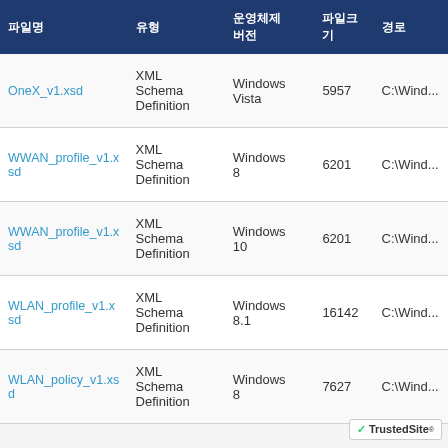| 파일명 | 유형 | 운영체제버전 | 파일크기 | 경로 |
| --- | --- | --- | --- | --- |
| OneX_v1.xsd | XML Schema Definition | Windows Vista | 5957 | C:\Wind... |
| WWAN_profile_v1.xsd | XML Schema Definition | Windows 8 | 6201 | C:\Wind... |
| WWAN_profile_v1.xsd | XML Schema Definition | Windows 10 | 6201 | C:\Wind... |
| WLAN_profile_v1.xsd | XML Schema Definition | Windows 8.1 | 16142 | C:\Wind... |
| WLAN_policy_v1.xsd | XML Schema Definition | Windows 8 | 7627 | C:\Wind... |